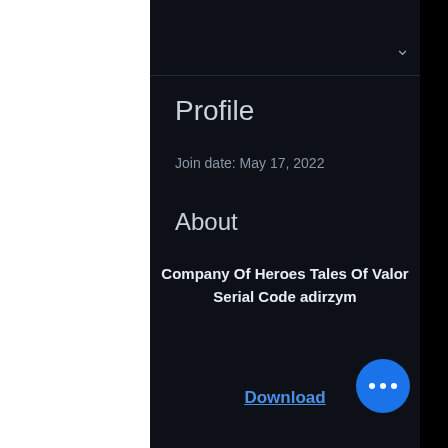Profile
Join date: May 17, 2022
About
Company Of Heroes Tales Of Valor Serial Code adirzym
Download